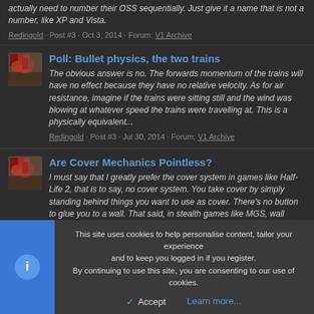actually need to number their OSS sequentially. Just give it a name that is not a number, like XP and Vista.
Redingold · Post #3 · Oct 3, 2014 · Forum: V1 Archive
Poll: Bullet physics, the two trains
The obvious answer is no. The forwards momentum of the trains will have no effect because they have no relative velocity. As for air resistance, imagine if the trains were sitting still and the wind was blowing at whatever speed the trains were travelling at. This is a physically equivalent...
Redingold · Post #3 · Jul 30, 2014 · Forum: V1 Archive
Are Cover Mechanics Pointless?
I must say that I greatly prefer the cover system in games like Half-Life 2, that is to say, no cover system. You take cover by simply standing behind things you want to use as cover. There's no button to glue you to a wall. That said, in stealth games like MGS, wall
This site uses cookies to help personalise content, tailor your experience and to keep you logged in if you register.
By continuing to use this site, you are consenting to our use of cookies.
Accept    Learn more...